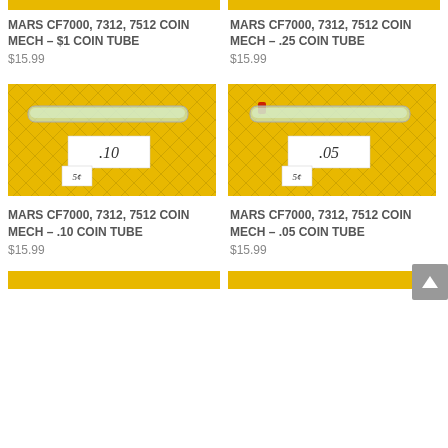[Figure (photo): Partial yellow diamond-pattern background image cropped at top, left product]
[Figure (photo): Partial yellow diamond-pattern background image cropped at top, right product]
MARS CF7000, 7312, 7512 COIN MECH – $1 COIN TUBE
MARS CF7000, 7312, 7512 COIN MECH – .25 COIN TUBE
$15.99
$15.99
[Figure (photo): Coin tube labeled .10 on yellow diamond background]
[Figure (photo): Coin tube labeled .05 on yellow diamond background]
MARS CF7000, 7312, 7512 COIN MECH – .10 COIN TUBE
MARS CF7000, 7312, 7512 COIN MECH – .05 COIN TUBE
$15.99
$15.99
[Figure (photo): Partial yellow diamond-pattern background image at bottom, left]
[Figure (photo): Partial yellow diamond-pattern background image at bottom, right]